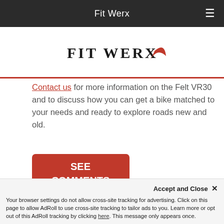Fit Werx
[Figure (logo): Fit Werx logo with stylized red swoosh and text FIT WERX]
Contact us for more information on the Felt VR30 and to discuss how you can get a bike matched to your needs and ready to explore roads new and old.
[Figure (other): Red speech-bubble button reading SEE COMMENTS]
About the Author
[Figure (photo): Author photo – person with light hair]
Your browser settings do not allow cross-site tracking for advertising. Click on this page to allow AdRoll to use cross-site tracking to tailor ads to you. Learn more or opt out of this AdRoll tracking by clicking here. This message only appears once.